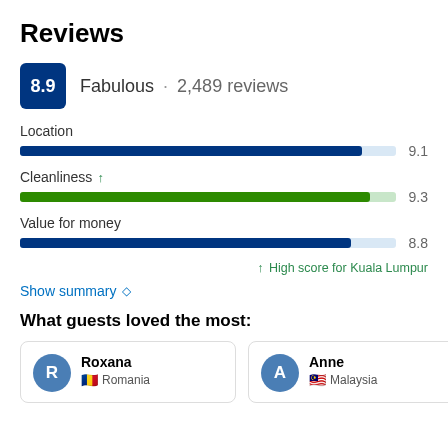Reviews
8.9  Fabulous · 2,489 reviews
[Figure (bar-chart): Category Ratings]
↑ High score for Kuala Lumpur
Show summary ◇
What guests loved the most:
R  Roxana  Romania
A  Anne  Malaysia